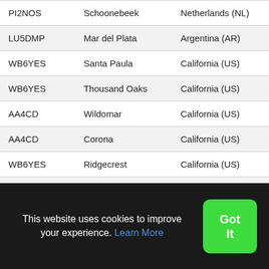| PI2NOS | Schoonebeek | Netherlands (NL) |
| LU5DMP | Mar del Plata | Argentina (AR) |
| WB6YES | Santa Paula | California (US) |
| WB6YES | Thousand Oaks | California (US) |
| AA4CD | Wildomar | California (US) |
| AA4CD | Corona | California (US) |
| WB6YES | Ridgecrest | California (US) |
| WB6YES | Palm Springs | California (US) |
| WB6YES | Poway | California (US) |
| WD6FZA | Wrightwood | California (US) |
This website uses cookies to improve your experience. Learn More